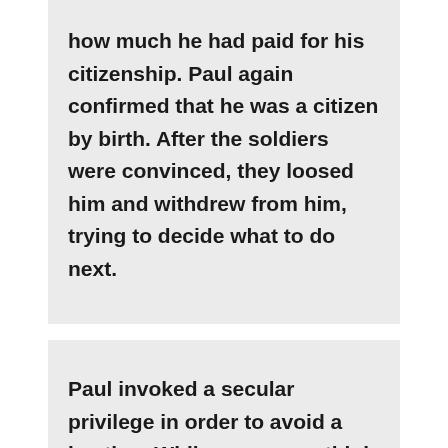how much he had paid for his citizenship. Paul again confirmed that he was a citizen by birth. After the soldiers were convinced, they loosed him and withdrew from him, trying to decide what to do next.
Paul invoked a secular privilege in order to avoid a beating. While some may think this was manipulative and cowardly, to me it seems ingenious. Paul knew he had further work to do.